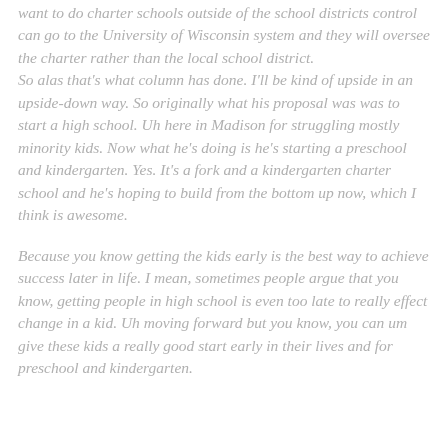want to do charter schools outside of the school districts control can go to the University of Wisconsin system and they will oversee the charter rather than the local school district. So alas that's what column has done. I'll be kind of upside in an upside-down way. So originally what his proposal was was to start a high school. Uh here in Madison for struggling mostly minority kids. Now what he's doing is he's starting a preschool and kindergarten. Yes. It's a fork and a kindergarten charter school and he's hoping to build from the bottom up now, which I think is awesome.
Because you know getting the kids early is the best way to achieve success later in life. I mean, sometimes people argue that you know, getting people in high school is even too late to really effect change in a kid. Uh moving forward but you know, you can um give these kids a really good start early in their lives and for preschool and kindergarten.